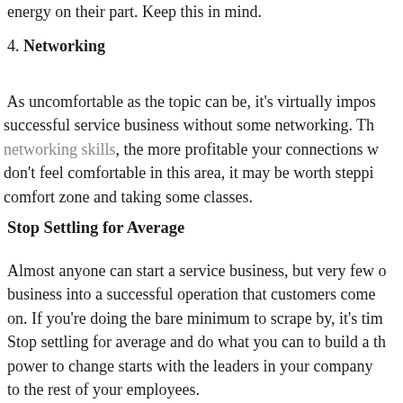energy on their part. Keep this in mind.
4. Networking
As uncomfortable as the topic can be, it's virtually impossible to build a successful service business without some networking. The better your networking skills, the more profitable your connections will be. If you don't feel comfortable in this area, it may be worth stepping outside your comfort zone and taking some classes.
Stop Settling for Average
Almost anyone can start a service business, but very few can turn that business into a successful operation that customers come back to time and on. If you're doing the bare minimum to scrape by, it's time to step it up. Stop settling for average and do what you can to build a thriving business. The power to change starts with the leaders in your company and trickles down to the rest of your employees.